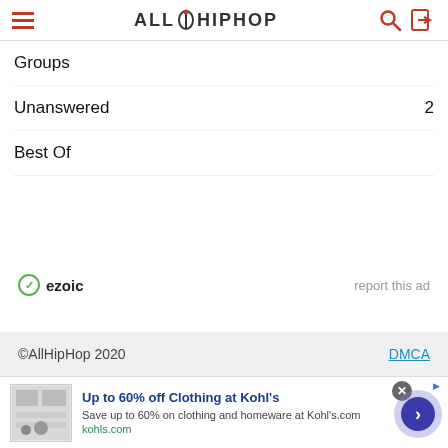AllHipHop
Groups
Unanswered  2
Best Of
ezoic  report this ad
©AllHipHop 2020   DMCA
Up to 60% off Clothing at Kohl's
Save up to 60% on clothing and homeware at Kohl's.com
kohls.com